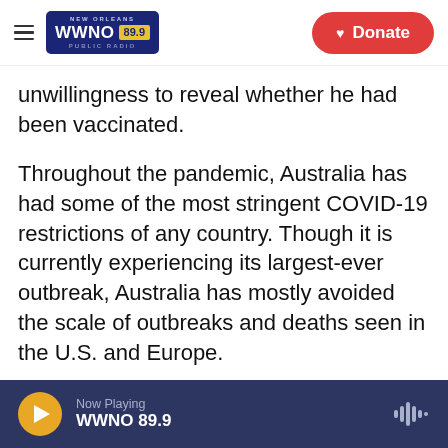[Figure (logo): WWNO 89.9 New Orleans Public Radio logo with navy blue background, yellow frequency box, and red Donate button in header]
unwillingness to reveal whether he had been vaccinated.
Throughout the pandemic, Australia has had some of the most stringent COVID-19 restrictions of any country. Though it is currently experiencing its largest-ever outbreak, Australia has mostly avoided the scale of outbreaks and deaths seen in the U.S. and Europe.
Among the country's measures is a requirement that people arriving from overseas be fully vaccinated, with limited exemptions. Unvaccinated
Now Playing WWNO 89.9